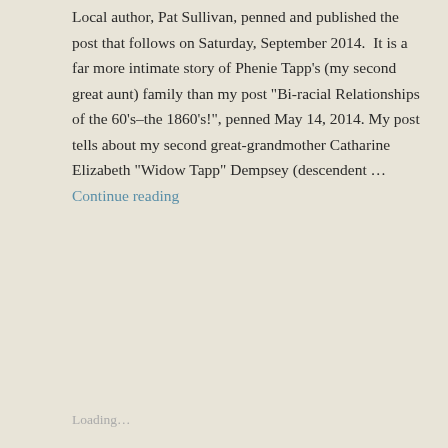Local author, Pat Sullivan, penned and published the post that follows on Saturday, September 2014.  It is a far more intimate story of Phenie Tapp's (my second great aunt) family than my post "Bi-racial Relationships of the 60's–the 1860's!", penned May 14, 2014. My post tells about my second great-grandmother Catharine Elizabeth "Widow Tapp" Dempsey (descendent … Continue reading
Share this:
[Figure (infographic): Row of social sharing icon buttons: email, print, Facebook, LinkedIn, Twitter, a dark square (Tumblr), WhatsApp, Pocket, Telegram, Skype; and a second row with Pinterest]
Loading...